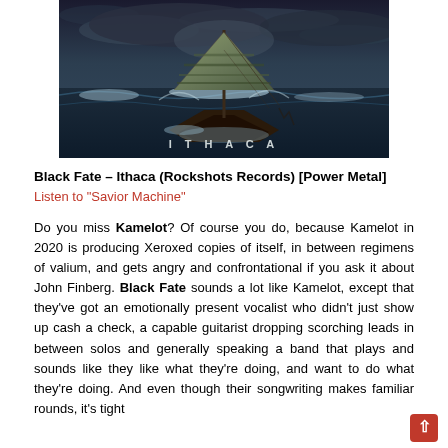[Figure (photo): Dark moody fantasy image of an ancient ship with large striped sail on stormy seas with the word ITHACA displayed in white letters at the bottom center]
Black Fate – Ithaca (Rockshots Records) [Power Metal]
Listen to "Savior Machine"
Do you miss Kamelot? Of course you do, because Kamelot in 2020 is producing Xeroxed copies of itself, in between regimens of valium, and gets angry and confrontational if you ask it about John Finberg. Black Fate sounds a lot like Kamelot, except that they've got an emotionally present vocalist who didn't just show up cash a check, a capable guitarist dropping scorching leads in between solos and generally speaking a band that plays and sounds like they like what they're doing, and want to do what they're doing. And even though their songwriting makes familiar rounds, it's tight